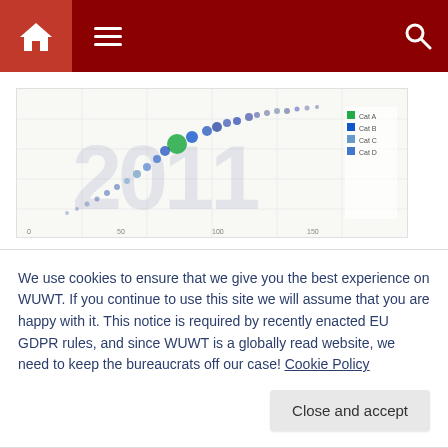WUWT navigation bar with home, menu, and search icons
[Figure (screenshot): Scatter plot thumbnail showing data points over a 2011 background watermark, representing climate/weather data visualization]
Don't Tax Development, It Hurts The Poor
December 19, 2011
With 156 comments
We use cookies to ensure that we give you the best experience on WUWT. If you continue to use this site we will assume that you are happy with it. This notice is required by recently enacted EU GDPR rules, and since WUWT is a globally read website, we need to keep the bureaucrats off our case! Cookie Policy
Close and accept